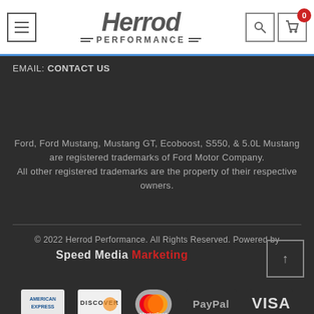Herrod Performance — navigation header with menu, search, and cart icons
EMAIL: CONTACT US
Ford, Ford Mustang, Mustang GT, Ecoboost, S550, & 5.0L Mustang are registered trademarks of Ford Motor Company. All other registered trademarks are the property of their respective owners.
© 2022 Herrod Performance. All Rights Reserved. Powered by Speed Media Marketing
[Figure (other): Payment method logos: American Express, Discover, MasterCard, PayPal, VISA]